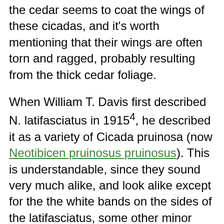the cedar seems to coat the wings of these cicadas, and it's worth mentioning that their wings are often torn and ragged, probably resulting from the thick cedar foliage.
When William T. Davis first described N. latifasciatus in 19154, he described it as a variety of Cicada pruinosa (now Neotibicen pruinosus pruinosus). This is understandable, since they sound very much alike, and look alike except for the the white bands on the sides of the latifasciatus, some other minor morphological differences, and habitats. pruinosus, latifasciatus, winnemanna, linnei, canicularis, and robinsonianus are collectively known as the Green [Neo]tibicen Species3 or simply "the Green Group". They're